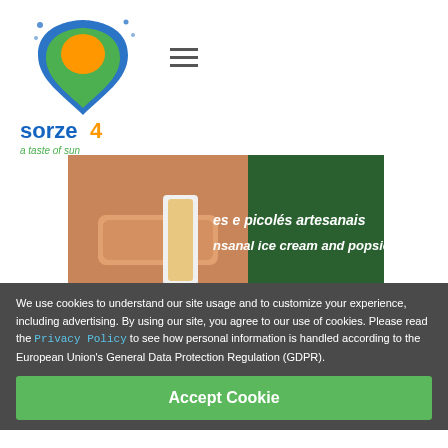[Figure (logo): Sorze4 logo - heart shape with orange and green colors, tagline 'a taste of sun']
[Figure (photo): A hand holding what appears to be a popsicle/ice cream, with green background text showing 'es e picolés artesanais' and 'nsanal ice cream and popsicles']
27. January 2018
World's first Prebiotic Popsicle(?) made from Amazon Secret
We use cookies to understand our site usage and to customize your experience, including advertising. By using our site, you agree to our use of cookies. Please read the Privacy Policy to see how personal information is handled according to the European Union's General Data Protection Regulation (GDPR).
Accept Cookie